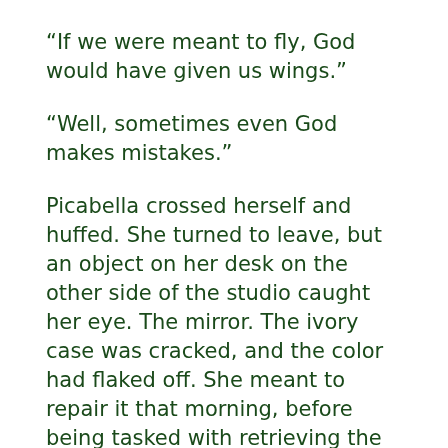“If we were meant to fly, God would have given us wings.”
“Well, sometimes even God makes mistakes.”
Picabella crossed herself and huffed. She turned to leave, but an object on her desk on the other side of the studio caught her eye. The mirror. The ivory case was cracked, and the color had flaked off. She meant to repair it that morning, before being tasked with retrieving the bat for Leonardo. No time like the present.
While Leonardo scratched on his page and examined the small creature, Picabella hunched over her task. With steady hands, she applied thin and perfect lines of color to the object in her grasp, applied plaster to the cracks, and added adhesive